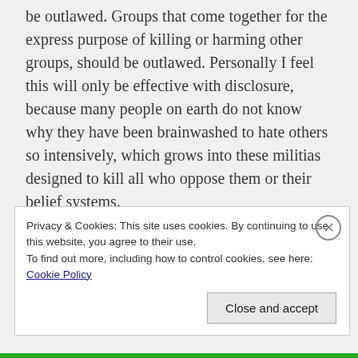be outlawed. Groups that come together for the express purpose of killing or harming other groups, should be outlawed. Personally I feel this will only be effective with disclosure, because many people on earth do not know why they have been brainwashed to hate others so intensively, which grows into these militias designed to kill all who oppose them or their belief systems.
Polarization
Privacy & Cookies: This site uses cookies. By continuing to use this website, you agree to their use.
To find out more, including how to control cookies, see here: Cookie Policy